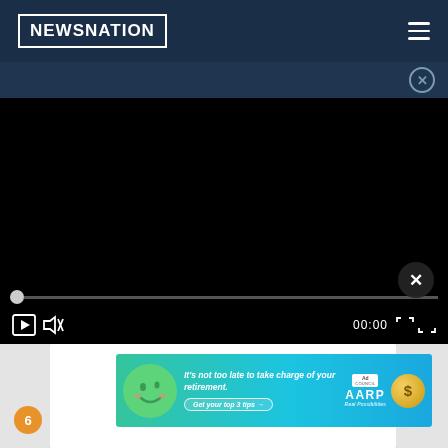NewsNation
[Figure (screenshot): Black video player area with progress bar and controls showing 00:00 timestamp]
[Figure (other): AARP advertisement banner: It's not too late to take charge of your retirement. Get your top 3 tips. Ad Council AARP Real Possibilities.]
85 arrested in Florida drug trafficking